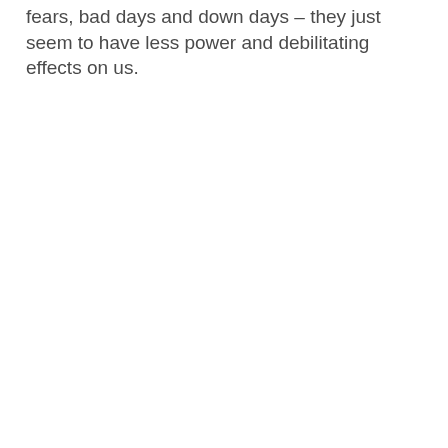fears, bad days and down days – they just seem to have less power and debilitating effects on us.